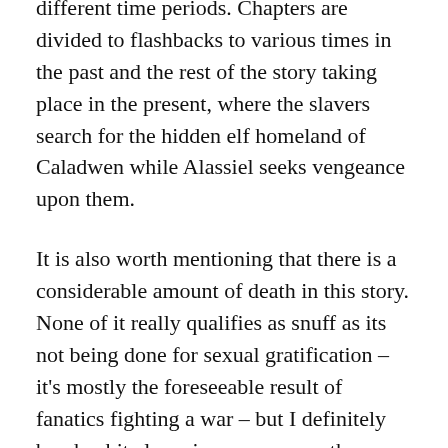different time periods. Chapters are divided to flashbacks to various times in the past and the rest of the story taking place in the present, where the slavers search for the hidden elf homeland of Caladwen while Alassiel seeks vengeance upon them.
It is also worth mentioning that there is a considerable amount of death in this story. None of it really qualifies as snuff as its not being done for sexual gratification – it's mostly the foreseeable result of fanatics fighting a war – but I definitely brush a bit closer in some scenes then some people will enjoy. Scenes that come a little close will be marked as (extreme), and I have a quick sentence that tells you what you need to know about the scene at the end of the